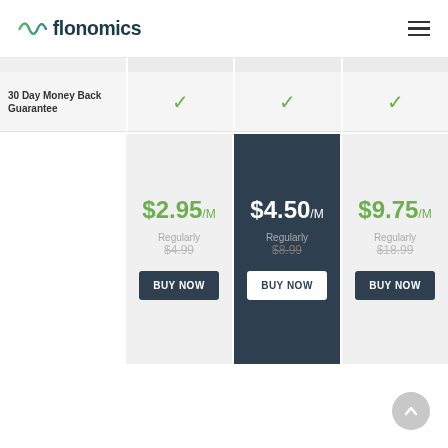[Figure (logo): Flonomics logo with wave/ECG icon in green-blue gradient and 'flonomics' in dark teal text]
| Feature | Plan 1 | Plan 2 | Plan 3 |
| --- | --- | --- | --- |
| 30 Day Money Back Guarantee | ✓ | ✓ | ✓ |
|  | $2.95/M
Regularly
$4.99
BUY NOW | $4.50/M
Regularly
$8.99
BUY NOW | $9.75/M
Regularly
$18.99
BUY NOW |